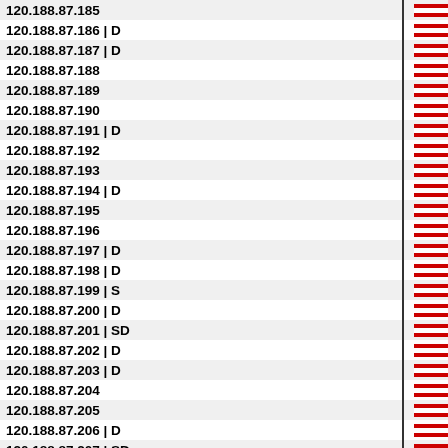| IP Address | Flag |
| --- | --- |
| 120.188.87.185 |  |
| 120.188.87.186 | D |  |
| 120.188.87.187 | D |  |
| 120.188.87.188 |  |
| 120.188.87.189 |  |
| 120.188.87.190 |  |
| 120.188.87.191 | D |  |
| 120.188.87.192 |  |
| 120.188.87.193 |  |
| 120.188.87.194 | D |  |
| 120.188.87.195 |  |
| 120.188.87.196 |  |
| 120.188.87.197 | D |  |
| 120.188.87.198 | D |  |
| 120.188.87.199 | S |  |
| 120.188.87.200 | D |  |
| 120.188.87.201 | SD |  |
| 120.188.87.202 | D |  |
| 120.188.87.203 | D |  |
| 120.188.87.204 |  |
| 120.188.87.205 |  |
| 120.188.87.206 | D |  |
| 120.188.87.207 | SD |  |
| 120.188.87.208 |  |
| 120.188.87.209 |  |
| 120.188.87.210 | D |  |
| 120.188.87.211 | D |  |